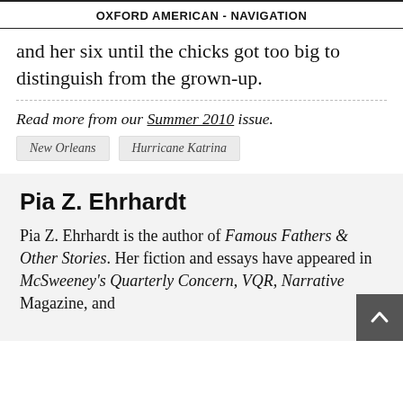OXFORD AMERICAN - NAVIGATION
and her six until the chicks got too big to distinguish from the grown-up.
Read more from our Summer 2010 issue.
New Orleans
Hurricane Katrina
Pia Z. Ehrhardt
Pia Z. Ehrhardt is the author of Famous Fathers & Other Stories. Her fiction and essays have appeared in McSweeney's Quarterly Concern, VQR, Narrative Magazine, and